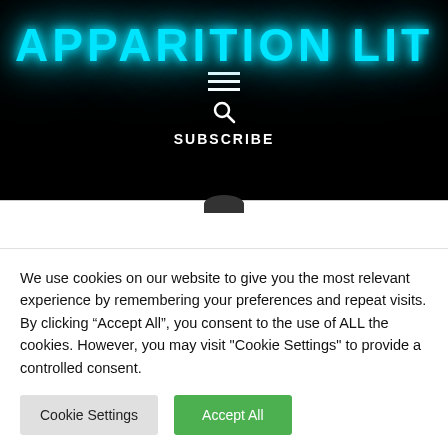APPARITION LIT
[Figure (other): Hamburger menu icon (three horizontal white lines on black background)]
[Figure (other): Search magnifying glass icon on black background]
SUBSCRIBE
We use cookies on our website to give you the most relevant experience by remembering your preferences and repeat visits. By clicking “Accept All”, you consent to the use of ALL the cookies. However, you may visit "Cookie Settings" to provide a controlled consent.
Cookie Settings
Accept All